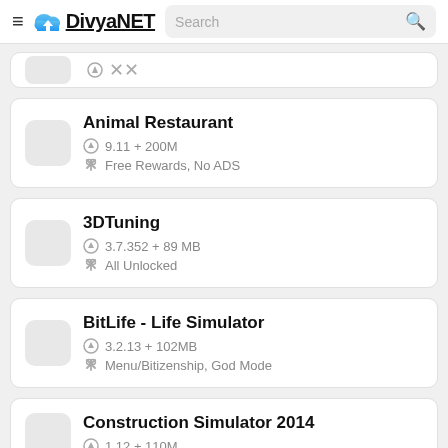DivyaNET Search
Animal Restaurant · 9.11 + 200M · Free Rewards, No ADS
3DTuning · 3.7.352 + 89 MB · All Unlocked
BitLife - Life Simulator · 3.2.13 + 102MB · Menu/Bitizenship, God Mode
Construction Simulator 2014 · 1.12 + 110M